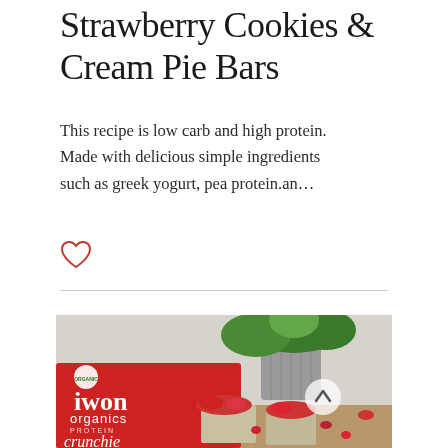Strawberry Cookies & Cream Pie Bars
This recipe is low carb and high protein. Made with delicious simple ingredients such as greek yogurt, pea protein.an…
[Figure (other): Heart/like icon in red outline]
[Figure (photo): Photo of iwon organics protein crunchie box in red next to a plant and strawberry dessert bars on a wooden surface]